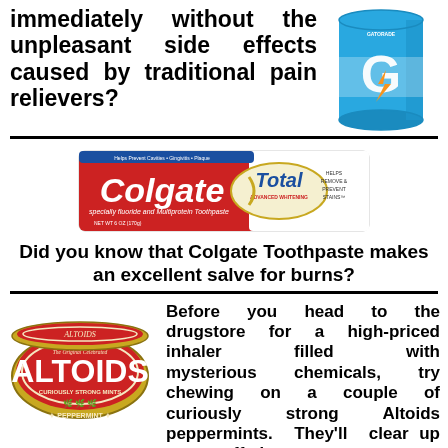immediately without the unpleasant side effects caused by traditional pain relievers?
[Figure (photo): Gatorade blue sports drink container]
[Figure (photo): Colgate Total Advanced Whitening toothpaste box]
Did you know that Colgate Toothpaste makes an excellent salve for burns?
[Figure (photo): Altoids Peppermint curiously strong mints tin]
Before you head to the drugstore for a high-priced inhaler filled with mysterious chemicals, try chewing on a couple of curiously strong Altoids peppermints. They'll clear up your stuffed nose.